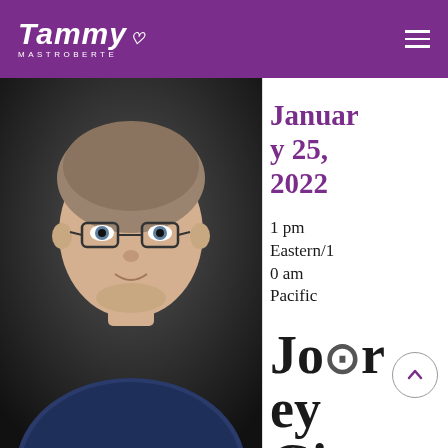Tammy Mastroberte
[Figure (photo): Headshot photo of a man with glasses and short gray-brown hair, wearing a dark blue patterned shirt, smiling slightly, against a dark background]
January 25, 2022
1 pm Eastern/10 am Pacific
Joey Gi...